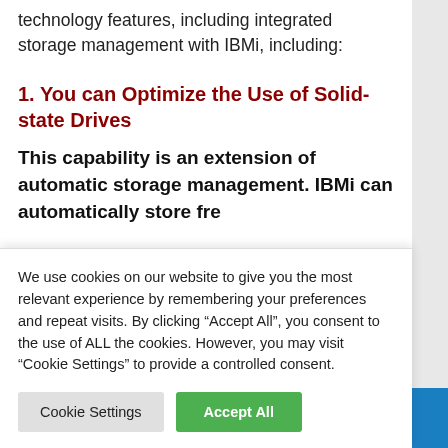technology features, including integrated storage management with IBMi, including:
1. You can Optimize the Use of Solid-state Drives
This capability is an extension of automatic storage management. IBMi can automatically store frequently
We use cookies on our website to give you the most relevant experience by remembering your preferences and repeat visits. By clicking “Accept All”, you consent to the use of ALL the cookies. However, you may visit “Cookie Settings” to provide a controlled consent.